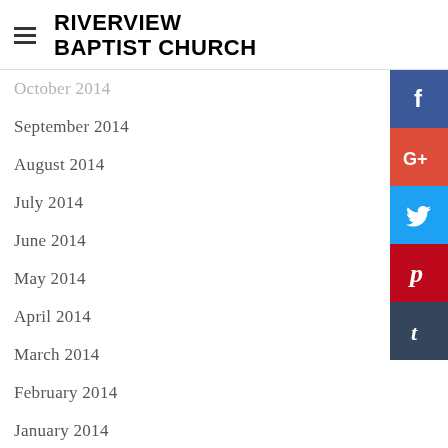RIVERVIEW BAPTIST CHURCH
October 2014
September 2014
August 2014
July 2014
June 2014
May 2014
April 2014
March 2014
February 2014
January 2014
December 2013
November 2013
October 2013
[Figure (infographic): Social media sharing buttons: Facebook (blue), Google+ (red), Twitter (light blue), Pinterest (dark red), Tumblr (dark blue)]